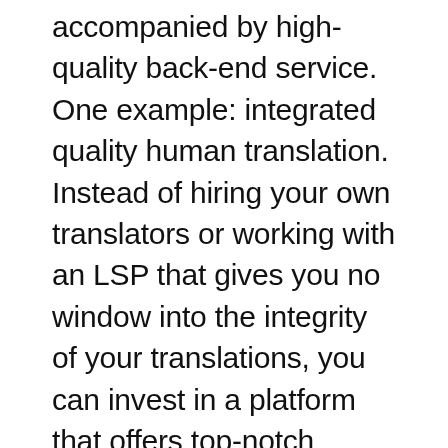accompanied by high-quality back-end service. One example: integrated quality human translation. Instead of hiring your own translators or working with an LSP that gives you no window into the integrity of your translations, you can invest in a platform that offers top-notch human translation and accountability. The best localization services back that up with an innovative machine translation component to bridge the temporary gap between your updates and the translators' direct attention to localized content. Ideally, in-market reviewers